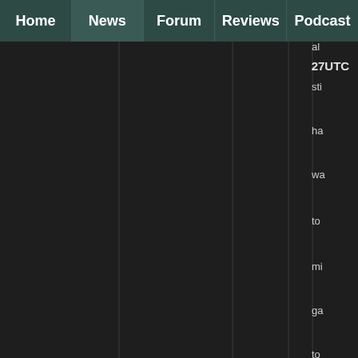Home | News | Forum | Reviews | Podcast
20:27UTC
al
sti
ha
wa
to
mi
ga
to
pli
We
ha
re
th
po
wh
so
mi
ga